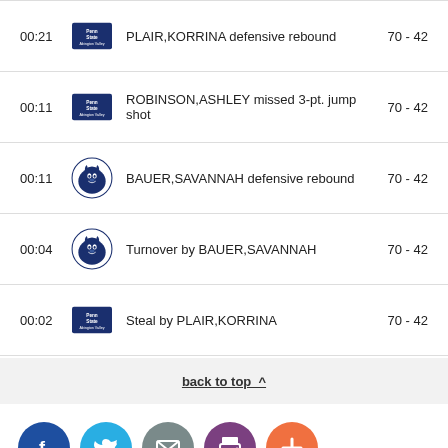00:21 PLAIR,KORRINA defensive rebound 70 - 42
00:11 ROBINSON,ASHLEY missed 3-pt. jump shot 70 - 42
00:11 BAUER,SAVANNAH defensive rebound 70 - 42
00:04 Turnover by BAUER,SAVANNAH 70 - 42
00:02 Steal by PLAIR,KORRINA 70 - 42
back to top ^
[Figure (logo): Social media share buttons: Facebook, Twitter, Email, Print, Plus]
PENN STATE HAZLETON